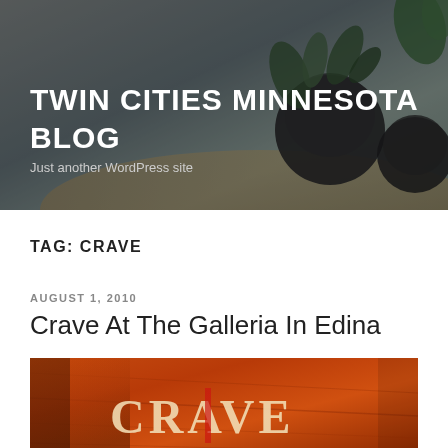TWIN CITIES MINNESOTA BLOG
Just another WordPress site
TAG: CRAVE
AUGUST 1, 2010
Crave At The Galleria In Edina
[Figure (photo): Close-up photo of a wooden sign or menu cover with the word CRAVE in large serif letters, warm orange/amber tones with dramatic lighting]